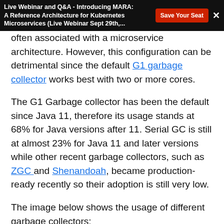Live Webinar and Q&A - Introducing MARA: A Reference Architecture for Kubernetes Microservices (Live Webinar Sept 29th,...
often associated with a microservice architecture. However, this configuration can be detrimental since the default G1 garbage collector works best with two or more cores.
The G1 Garbage collector has been the default since Java 11, therefore its usage stands at 68% for Java versions after 11. Serial GC is still at almost 23% for Java 11 and later versions while other recent garbage collectors, such as ZGC and Shenandoah, became production-ready recently so their adoption is still very low.
The image below shows the usage of different garbage collectors: